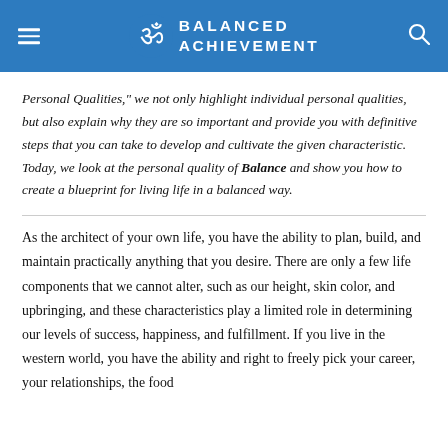BALANCED ACHIEVEMENT
Personal Qualities," we not only highlight individual personal qualities, but also explain why they are so important and provide you with definitive steps that you can take to develop and cultivate the given characteristic. Today, we look at the personal quality of Balance and show you how to create a blueprint for living life in a balanced way.
As the architect of your own life, you have the ability to plan, build, and maintain practically anything that you desire. There are only a few life components that we cannot alter, such as our height, skin color, and upbringing, and these characteristics play a limited role in determining our levels of success, happiness, and fulfillment. If you live in the western world, you have the ability and right to freely pick your career, your relationships, the food